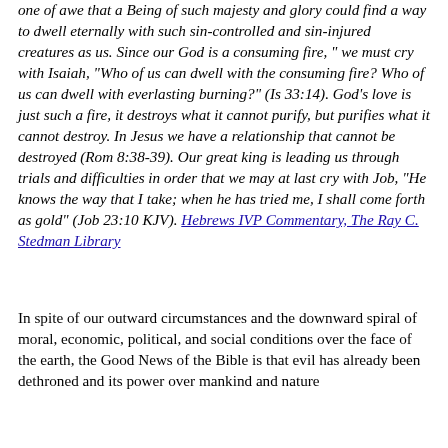one of awe that a Being of such majesty and glory could find a way to dwell eternally with such sin-controlled and sin-injured creatures as us. Since our God is a consuming fire, " we must cry with Isaiah, "Who of us can dwell with the consuming fire? Who of us can dwell with everlasting burning?" (Is 33:14). God's love is just such a fire, it destroys what it cannot purify, but purifies what it cannot destroy. In Jesus we have a relationship that cannot be destroyed (Rom 8:38-39). Our great king is leading us through trials and difficulties in order that we may at last cry with Job, "He knows the way that I take; when he has tried me, I shall come forth as gold" (Job 23:10 KJV). Hebrews IVP Commentary, The Ray C. Stedman Library
In spite of our outward circumstances and the downward spiral of moral, economic, political, and social conditions over the face of the earth, the Good News of the Bible is that evil has already been dethroned and its power over mankind and nature broken. The enemy is in a losing battle...